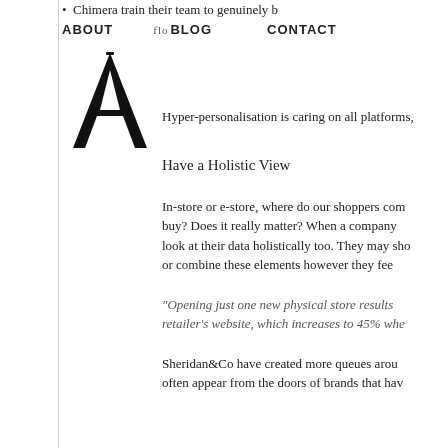Chimera train their team to genuinely b...
ABOUT   flo...BLOG   CONTACT
[Figure (logo): Large stylized letter A logo in black serif font]
Hyper-personalisation is caring on all platforms,
Have a Holistic View
In-store or e-store, where do our shoppers com... buy? Does it really matter? When a company look at their data holistically too. They may sho... or combine these elements however they fee...
“Opening just one new physical store results ... retailer’s website, which increases to 45% whe...
Sheridan&Co have created more queues arou... often appear from the doors of brands that hav...